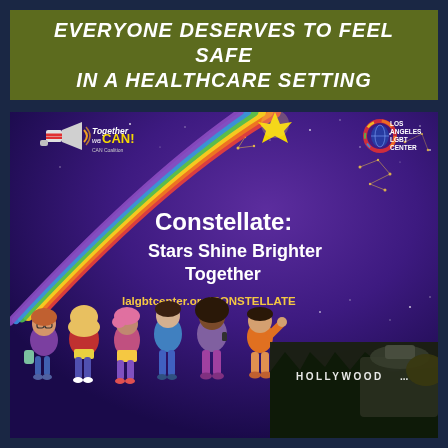EVERYONE DESERVES TO FEEL SAFE IN A HEALTHCARE SETTING
[Figure (illustration): Promotional poster for 'Constellate: Stars Shine Brighter Together' event by LA LGBT Center and CAN Coalition. Features a night sky background with constellation stars, a rainbow shooting star arc, diverse group of young people standing at the bottom, Hollywood sign and observatory in the background, and logos for 'Together We CAN! CAN Coalition' and 'Los Angeles LGBT Center' in the corners. URL lalgbtcenter.org/CONSTELLATE displayed prominently.]